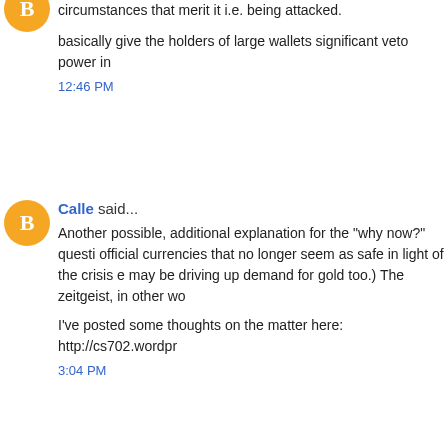circumstances that merit it i.e. being attacked.
basically give the holders of large wallets significant veto power in
12:46 PM
Calle said...
Another possible, additional explanation for the "why now?" questi official currencies that no longer seem as safe in light of the crisis e may be driving up demand for gold too.) The zeitgeist, in other wo
I've posted some thoughts on the matter here: http://cs702.wordpr
3:04 PM
nick said...
nazgulnarsil, that's basically the only time the "voting" matters, in a messages (unlikely) or (more importantly) an attack where nodes i cryptographically protected.
There are also out-of-band reactions that can occur even if a majo chain in Bitcoin (or title registry in bit gold) and then try to convince corrupt majority is in error. However, it's not clear what kinds of thi further study.